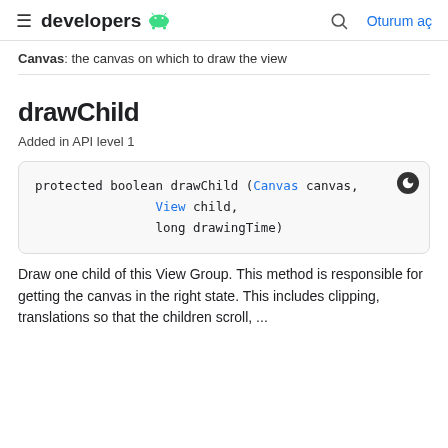developers | Oturum aç
Canvas: the canvas on which to draw the view
drawChild
Added in API level 1
Draw one child of this View Group. This method is responsible for getting the canvas in the right state. This includes clipping, translations so that the children scroll, ...